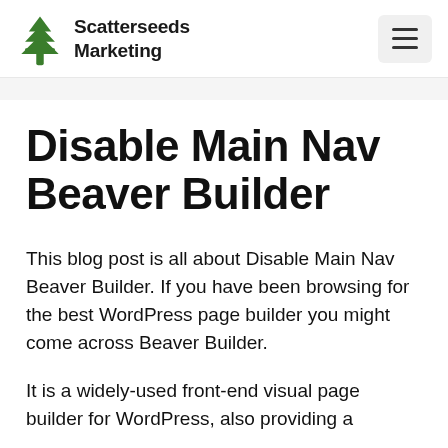[Figure (logo): Scatterseeds Marketing logo with a green tree icon and bold dark text reading 'Scatterseeds Marketing']
Disable Main Nav Beaver Builder
This blog post is all about Disable Main Nav Beaver Builder. If you have been browsing for the best WordPress page builder you might come across Beaver Builder.
It is a widely-used front-end visual page builder for WordPress, also providing a